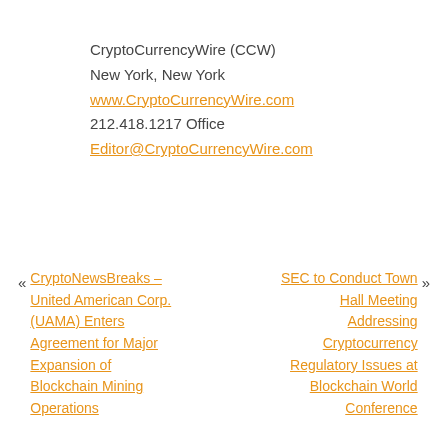CryptoCurrencyWire (CCW)
New York, New York
www.CryptoCurrencyWire.com
212.418.1217 Office
Editor@CryptoCurrencyWire.com
« CryptoNewsBreaks – United American Corp. (UAMA) Enters Agreement for Major Expansion of Blockchain Mining Operations
SEC to Conduct Town Hall Meeting Addressing Cryptocurrency Regulatory Issues at Blockchain World Conference »